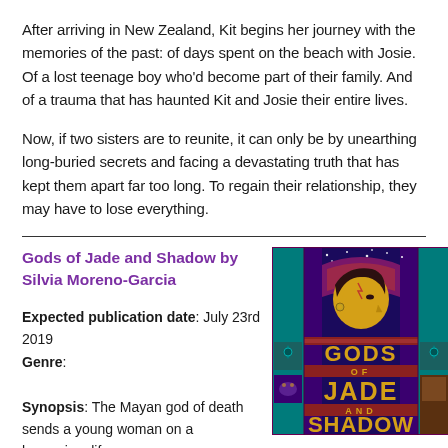After arriving in New Zealand, Kit begins her journey with the memories of the past: of days spent on the beach with Josie. Of a lost teenage boy who'd become part of their family. And of a trauma that has haunted Kit and Josie their entire lives.
Now, if two sisters are to reunite, it can only be by unearthing long-buried secrets and facing a devastating truth that has kept them apart far too long. To regain their relationship, they may have to lose everything.
Gods of Jade and Shadow by Silvia Moreno-Garcia
Expected publication date: July 23rd 2019
Genre:

Synopsis: The Mayan god of death sends a young woman on a harrowing, life-
[Figure (illustration): Book cover of 'Gods of Jade and Shadow' by Silvia Moreno-Garcia. Dark blue/purple background with colorful Art Deco Mayan-inspired artwork showing a woman's profile and the book title in yellow and gold lettering.]